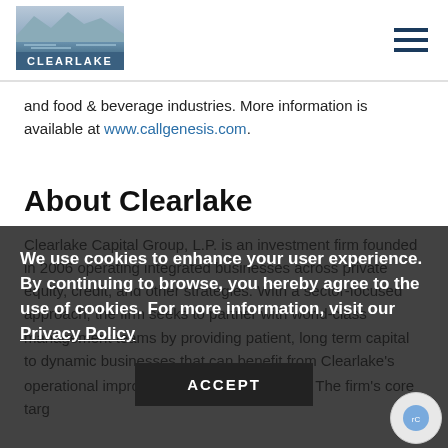[Figure (logo): Clearlake Capital Group logo - mountain/lake landscape graphic above text 'CLEARLAKE']
and food & beverage industries. More information is available at www.callgenesis.com.
About Clearlake
Clearlake Capital Group, L.P. is an investment firm founded in 2006 operating integrated businesses across private equity, credit, and other strategies. With a sector-focused approach, the firm seeks to partner with world-class management teams by providing patient, long term capital to dynamic businesses that can benefit from Clearlake's operational improvement approach O.P.S.® The firm's core target sectors are industrials, technology and consumer. Clearlake currently has over $43 billion of assets under management, and its senior investment principals have led
We use cookies to enhance your user experience. By continuing to browse, you hereby agree to the use of cookies. For more information, visit our Privacy Policy
ACCEPT